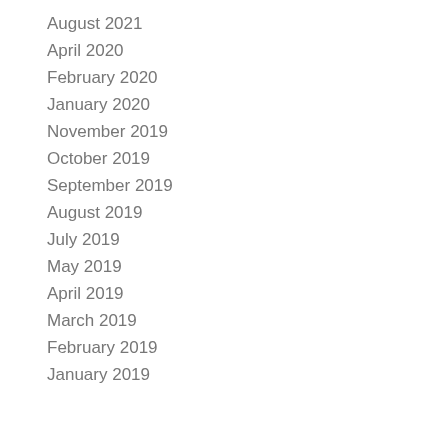August 2021
April 2020
February 2020
January 2020
November 2019
October 2019
September 2019
August 2019
July 2019
May 2019
April 2019
March 2019
February 2019
January 2019